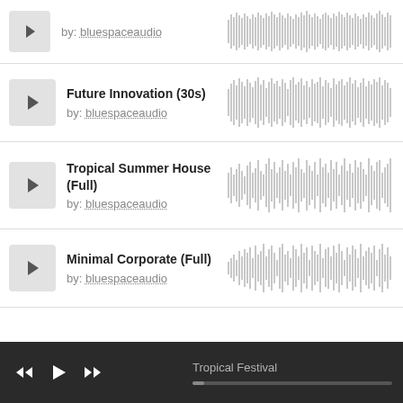[Figure (screenshot): Partial track row at top: play button, 'by: bluespaceaudio', and waveform thumbnail]
Future Innovation (30s)
by: bluespaceaudio
[Figure (continuous-plot): Audio waveform for Future Innovation (30s)]
Tropical Summer House (Full)
by: bluespaceaudio
[Figure (continuous-plot): Audio waveform for Tropical Summer House (Full)]
Minimal Corporate (Full)
by: bluespaceaudio
[Figure (continuous-plot): Audio waveform for Minimal Corporate (Full)]
Tropical Festival